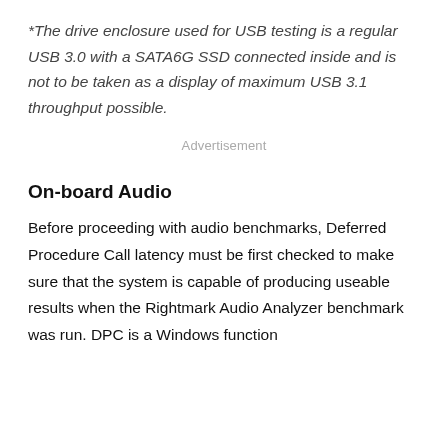*The drive enclosure used for USB testing is a regular USB 3.0 with a SATA6G SSD connected inside and is not to be taken as a display of maximum USB 3.1 throughput possible.
Advertisement
On-board Audio
Before proceeding with audio benchmarks, Deferred Procedure Call latency must be first checked to make sure that the system is capable of producing useable results when the Rightmark Audio Analyzer benchmark was run. DPC is a Windows function